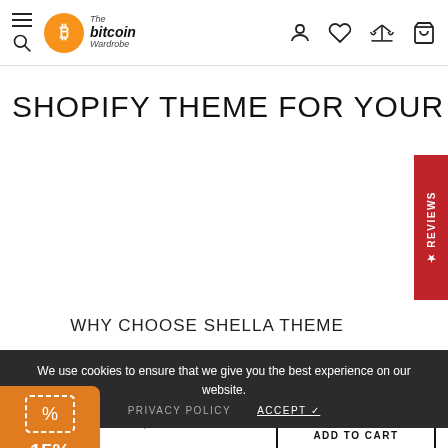The Bitcoin Wardrobe — navigation header with hamburger/search, logo, and icons (user, wishlist, compare, cart)
SHOPIFY THEME FOR YOUR SUCCESS
WHY CHOOSE SHELLA THEME
We use cookies to ensure that we give you the best experience on our website.
PRIVACY POLICY   ACCEPT ✓
[Figure (infographic): Orange coupon widget showing 15% OFF with timer 14:57 and receipt icon]
€5,50
3x3   ADD TO CART